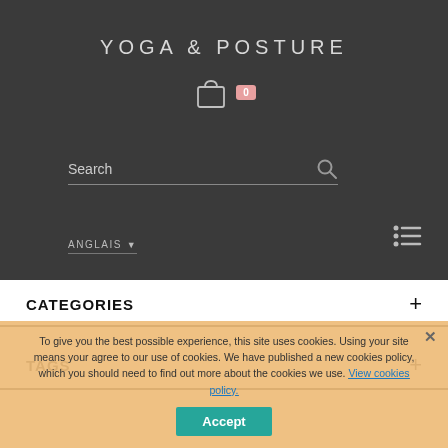YOGA & POSTURE
[Figure (screenshot): Shopping cart icon with badge showing 0]
Search
ANGLAIS
[Figure (screenshot): Hamburger menu icon (list view)]
CATEGORIES
TAGS
To give you the best possible experience, this site uses cookies. Using your site means your agree to our use of cookies. We have published a new cookies policy, which you should need to find out more about the cookies we use.
View cookies policy.
Accept